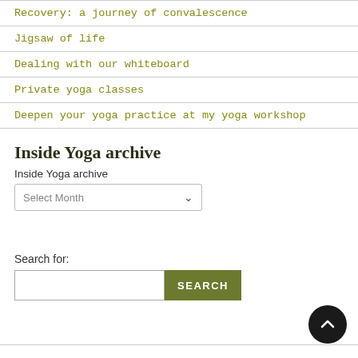Recovery: a journey of convalescence
Jigsaw of life
Dealing with our whiteboard
Private yoga classes
Deepen your yoga practice at my yoga workshop
Inside Yoga archive
Inside Yoga archive
Select Month
Search for:
SEARCH